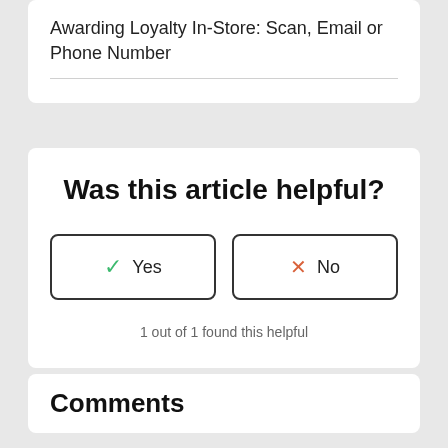Awarding Loyalty In-Store: Scan, Email or Phone Number
Was this article helpful?
1 out of 1 found this helpful
Comments